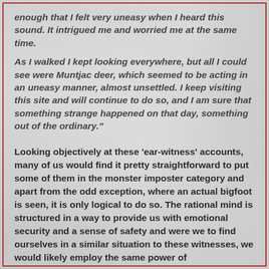enough that I felt very uneasy when I heard this sound. It intrigued me and worried me at the same time.
As I walked I kept looking everywhere, but all I could see were Muntjac deer, which seemed to be acting in an uneasy manner, almost unsettled. I keep visiting this site and will continue to do so, and I am sure that something strange happened on that day, something out of the ordinary."
Looking objectively at these 'ear-witness' accounts, many of us would find it pretty straightforward to put some of them in the monster imposter category and apart from the odd exception, where an actual bigfoot is seen, it is only logical to do so. The rational mind is structured in a way to provide us with emotional security and a sense of safety and were we to find ourselves in a similar situation to these witnesses, we would likely employ the same power of rationalisation, to explain away the oddities of our experience.